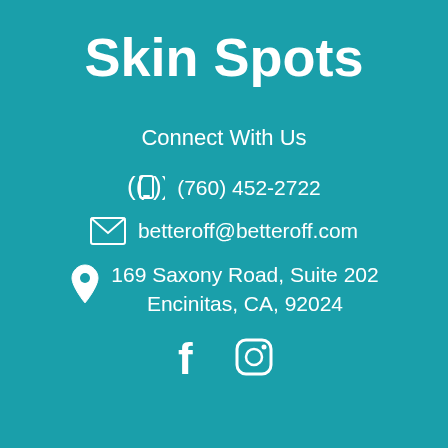Skin Spots
Connect With Us
(760) 452-2722
betteroff@betteroff.com
169 Saxony Road, Suite 202 Encinitas, CA, 92024
[Figure (logo): Facebook and Instagram social media icons]